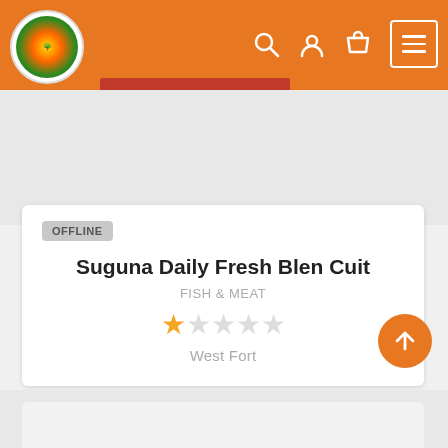[Figure (screenshot): Website header with orange background, circular logo on left, search/user/cart icons and hamburger menu on right]
OFFLINE
Suguna Daily Fresh Blen Cuit
FISH & MEAT
[Figure (other): Star rating: 1 filled star out of 5]
West Fort